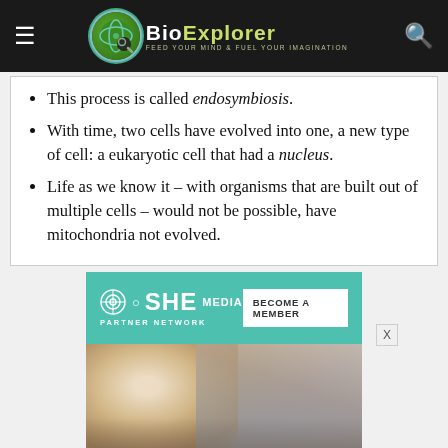BioExplorer — Feed Your Mind & Fuel Your Imagination
This process is called endosymbiosis.
With time, two cells have evolved into one, a new type of cell: a eukaryotic cell that had a nucleus.
Life as we know it – with organisms that are built out of multiple cells – would not be possible, have mitochondria not evolved.
[Figure (photo): SHE Media Partner Network advertisement banner with teal background showing 'BECOME A MEMBER' button and photo of a smiling woman with glasses using a laptop.]